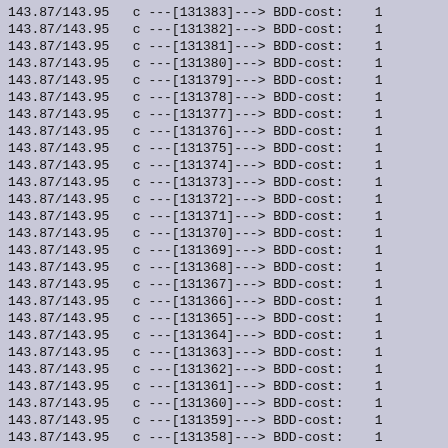143.87/143.95   c ---[131383]---> BDD-cost:    1
143.87/143.95   c ---[131382]---> BDD-cost:    1
143.87/143.95   c ---[131381]---> BDD-cost:    1
143.87/143.95   c ---[131380]---> BDD-cost:    1
143.87/143.95   c ---[131379]---> BDD-cost:    1
143.87/143.95   c ---[131378]---> BDD-cost:    1
143.87/143.95   c ---[131377]---> BDD-cost:    1
143.87/143.95   c ---[131376]---> BDD-cost:    1
143.87/143.95   c ---[131375]---> BDD-cost:    1
143.87/143.95   c ---[131374]---> BDD-cost:    1
143.87/143.95   c ---[131373]---> BDD-cost:    1
143.87/143.95   c ---[131372]---> BDD-cost:    1
143.87/143.95   c ---[131371]---> BDD-cost:    1
143.87/143.95   c ---[131370]---> BDD-cost:    1
143.87/143.95   c ---[131369]---> BDD-cost:    1
143.87/143.95   c ---[131368]---> BDD-cost:    1
143.87/143.95   c ---[131367]---> BDD-cost:    1
143.87/143.95   c ---[131366]---> BDD-cost:    1
143.87/143.95   c ---[131365]---> BDD-cost:    1
143.87/143.95   c ---[131364]---> BDD-cost:    1
143.87/143.95   c ---[131363]---> BDD-cost:    1
143.87/143.95   c ---[131362]---> BDD-cost:    1
143.87/143.95   c ---[131361]---> BDD-cost:    1
143.87/143.95   c ---[131360]---> BDD-cost:    1
143.87/143.95   c ---[131359]---> BDD-cost:    1
143.87/143.95   c ---[131358]---> BDD-cost:    1
143.87/143.95   c ---[131357]---> BDD-cost:    1
143.87/143.95   c ---[131356]---> BDD-cost:    1
143.87/143.95   c ---[131355]---> BDD-cost:    1
143.87/143.95   c ---[131354]---> BDD-cost:    1
143.87/143.95   c ---[131353]---> BDD-cost:    1
143.87/143.95   c ---[131352]---> BDD-cost:    1
143.87/143.95   c ---[131351]---> BDD-cost:    1